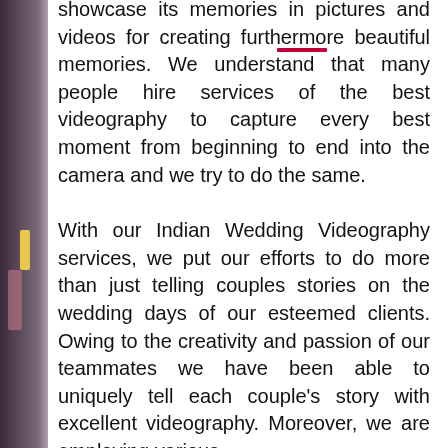showcase its memories in pictures and videos for creating furthermore beautiful memories. We understand that many people hire services of the best videography to capture every best moment from beginning to end into the camera and we try to do the same.
With our Indian Wedding Videography services, we put our efforts to do more than just telling couples stories on the wedding days of our esteemed clients. Owing to the creativity and passion of our teammates we have been able to uniquely tell each couple's story with excellent videography. Moreover, we are employing various